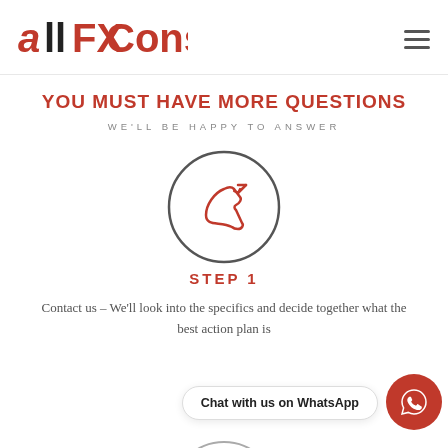AllFXConsult
YOU MUST HAVE MORE QUESTIONS
WE'LL BE HAPPY TO ANSWER
[Figure (illustration): Circle with a phone/call icon (incoming call) drawn in dark gray outline with red phone handset and arrow]
STEP 1
Contact us – We'll look into the specifics and decide together what the best action plan is
[Figure (illustration): WhatsApp chat button bar with red circular WhatsApp icon and text 'Chat with us on WhatsApp']
[Figure (illustration): Partial circle with a red pencil icon visible at the bottom of the page (next step icon)]